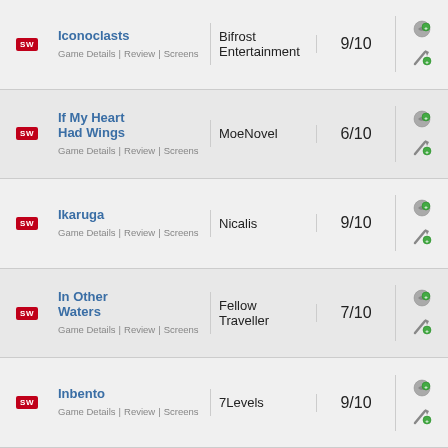| Badge | Title | Publisher | Score | Actions |
| --- | --- | --- | --- | --- |
| SW | Iconoclasts
Game Details | Review | Screens | Bifrost Entertainment | 9/10 |  |
| SW | If My Heart Had Wings
Game Details | Review | Screens | MoeNovel | 6/10 |  |
| SW | Ikaruga
Game Details | Review | Screens | Nicalis | 9/10 |  |
| SW | In Other Waters
Game Details | Review | Screens | Fellow Traveller | 7/10 |  |
| SW | Inbento
Game Details | Review | Screens | 7Levels | 9/10 |  |